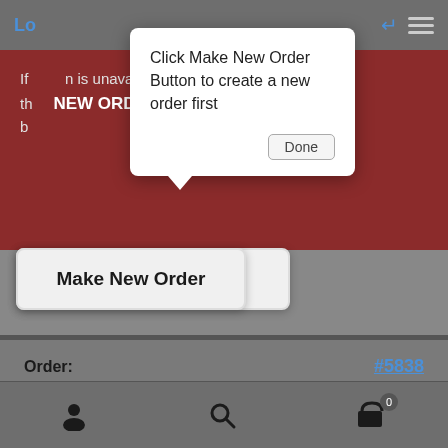Lo
[Figure (screenshot): Tooltip/popover dialog saying 'Click Make New Order Button to create a new order first' with a Done button]
If [item] is unavailible th[en] [click] NEW ORDER b[utton]
Make New Order
Order: #5838
Date: August 30, 2022
Status: Cancelled
Navigation bar with user, search, and cart icons